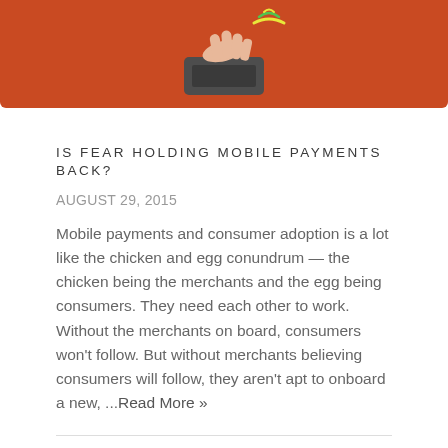[Figure (illustration): Red/orange banner image showing a hand or phone tap illustration on dark background, suggesting mobile payment interaction]
IS FEAR HOLDING MOBILE PAYMENTS BACK?
AUGUST 29, 2015
Mobile payments and consumer adoption is a lot like the chicken and egg conundrum — the chicken being the merchants and the egg being consumers. They need each other to work. Without the merchants on board, consumers won't follow. But without merchants believing consumers will follow, they aren't apt to onboard a new, ...Read More »